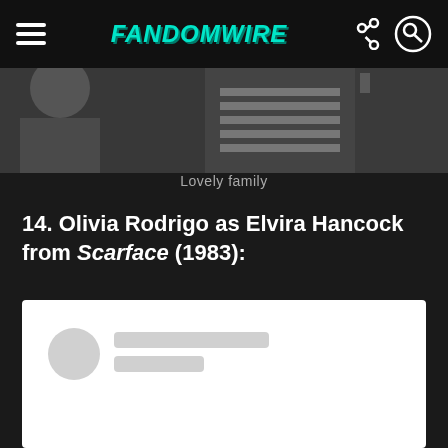FandomWire
[Figure (photo): Cropped photo showing people, partially visible at the top of the page - appears to be a family or group photo]
Lovely family
14. Olivia Rodrigo as Elvira Hancock from Scarface (1983):
[Figure (screenshot): A white content card with loading placeholder elements: a circular avatar placeholder and two rectangular text placeholder bars, indicating content is loading]